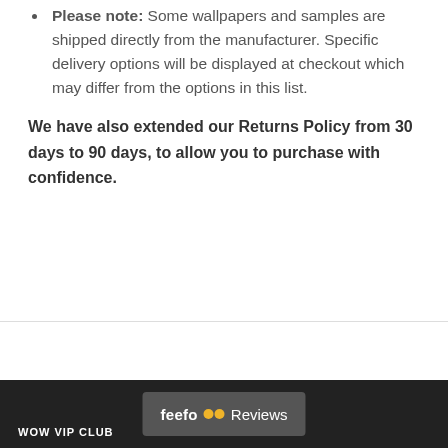Please note: Some wallpapers and samples are shipped directly from the manufacturer. Specific delivery options will be displayed at checkout which may differ from the options in this list.
We have also extended our Returns Policy from 30 days to 90 days, to allow you to purchase with confidence.
WOW VIP CLUB   feefo Reviews